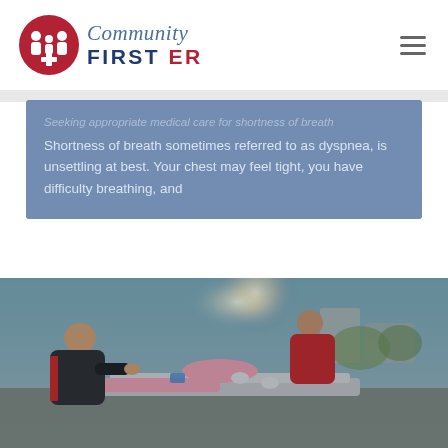Community First ER
Seeking appropriate medical care for shortness of breath
Shortness of breath sometimes referred to as dyspnea, is unsettling at best. Your chest may feel tight, you have difficulty breathing, and
[Figure (photo): Two emergency medical technicians / paramedics in red uniforms attending to a patient on a stretcher outdoors, treating a person in a pink shirt.]